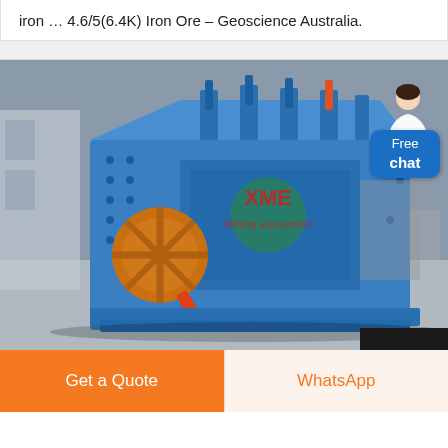iron … 4.6/5(6.4K) Iron Ore – Geoscience Australia.
[Figure (photo): Blue industrial mining crusher machine (XME Mining Equipment) with orange flywheel, displayed in a factory/warehouse setting. A 'Free chat' button overlay is in the top-right corner with a customer service avatar.]
Get a Quote
WhatsApp